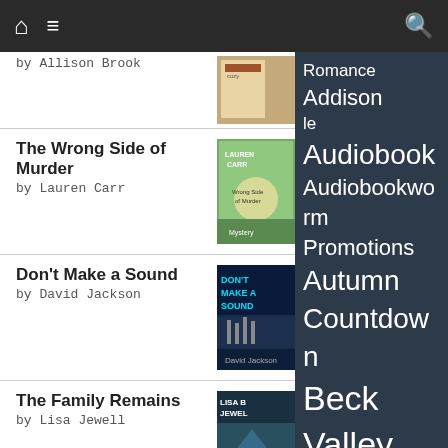Navigation bar with home, menu, and search icons
by Allison Brook
The Wrong Side of Murder by Lauren Carr
Don't Make a Sound by David Jackson
The Family Remains by Lisa Jewell
The Witch's Tree by Elena Collins
[Figure (screenshot): Right sidebar tag cloud on dark background with book tour promotion labels including: Romance Addison, Audiobook, Audiobookworm Promotions, Autumn Countdown, Beck Valley Book Tours, bookish blog hop, Book Partners In Crime PR, Bridging the Gap Tours, Christmas Countdown, Enticing Journey Book Promotions]
goodreads